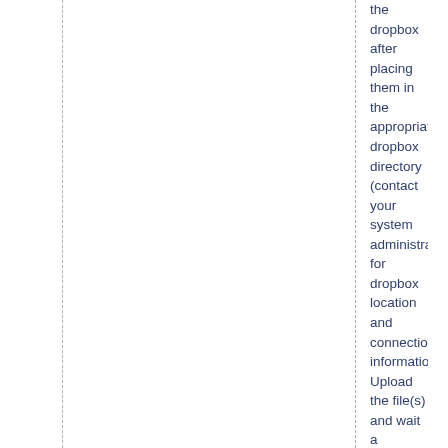the dropbox after placing them in the appropriate dropbox directory (contact your system administrator for dropbox location and connection information). Upload the file(s) and wait a moment for them to attach to the resource. Delete the incorrect content file(s) from the item in the Manage file(s) section of edit mode, then Save at the bottom of the Manage file(s) form.
To correct metadata errors for an item:
Click the Edit button for an item and navigate to the Resource